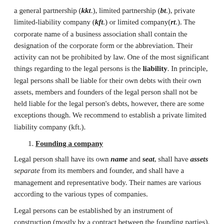a general partnership (kkt.), limited partnership (bt.), private limited-liability company (kft.) or limited company(rt.). The corporate name of a business association shall contain the designation of the corporate form or the abbreviation. Their activity can not be prohibited by law. One of the most significant things regarding to the legal persons is the liability. In principle, legal persons shall be liable for their own debts with their own assets, members and founders of the legal person shall not be held liable for the legal person's debts, however, there are some exceptions though. We recommend to establish a private limited liability company (kft.).
1. Founding a company
Legal person shall have its own name and seat, shall have assets separate from its members and founder, and shall have a management and representative body. Their names are various according to the various types of companies.
Legal persons can be established by an instrument of construction (mostly by a contract between the founding parties). Organizational structure and operational arrangements are in this document regulated as well. The instrument of construction has to be signed...